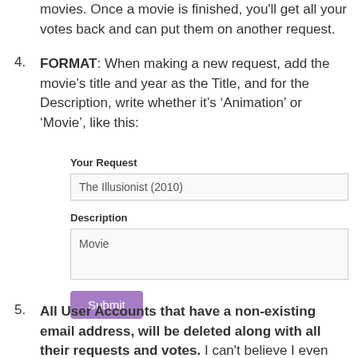movies. Once a movie is finished, you'll get all your votes back and can put them on another request.
4. FORMAT: When making a new request, add the movie's title and year as the Title, and for the Description, write whether it's 'Animation' or 'Movie', like this:
[Figure (screenshot): A mock form with fields 'Your Request' containing 'The Illusionist (2010)' and 'Description' containing 'Movie', with a purple Submit button.]
5. All User Accounts that have a non-existing email address, will be deleted along with all their requests and votes. I can't believe I even have to say